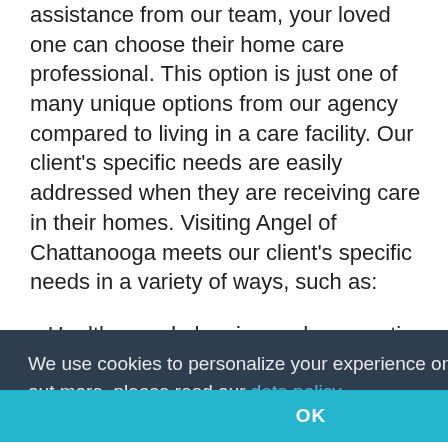assistance from our team, your loved one can choose their home care professional. This option is just one of many unique options from our agency compared to living in a care facility. Our client's specific needs are easily addressed when they are receiving care in their homes. Visiting Angel of Chattanooga meets our client's specific needs in a variety of ways, such as:
Healthy meal planning and preparation
...ping
We use cookies to personalize your experience on our site. To find out more, please read our data policy.
OK
Fall prevention and training assistance